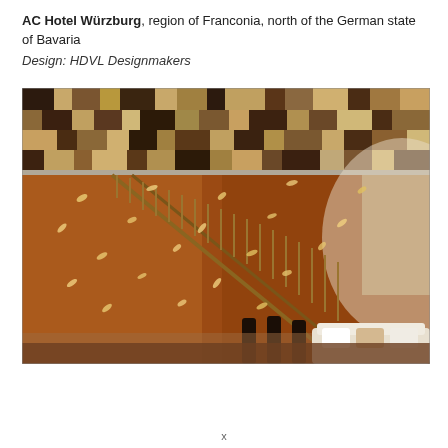AC Hotel Würzburg, region of Franconia, north of the German state of Bavaria
Design: HDVL Designmakers
[Figure (photo): Interior photo of AC Hotel Würzburg showing a dramatic atrium with a patterned geometric ceiling in brown, tan, and dark tones (top portion), and below a grand curved staircase with metal railings set against a rich amber/brown textured wall with scattered metallic leaf-like decorations. The lower level shows seating with white cushions and pillows.]
x